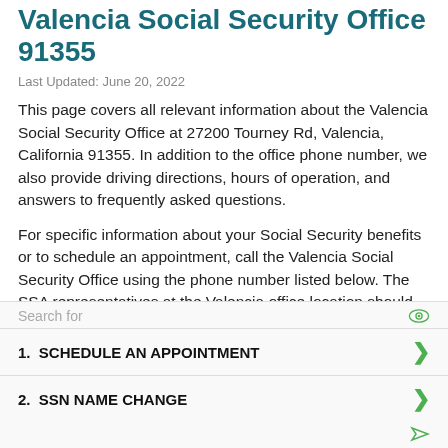Valencia Social Security Office 91355
Last Updated: June 20, 2022
This page covers all relevant information about the Valencia Social Security Office at 27200 Tourney Rd, Valencia, California 91355. In addition to the office phone number, we also provide driving directions, hours of operation, and answers to frequently asked questions.
For specific information about your Social Security benefits or to schedule an appointment, call the Valencia Social Security Office using the phone number listed below. The SSA representatives at the Valencia office location should be able to help with any important questions related to Social Security retirement benefits,
1. SCHEDULE AN APPOINTMENT
2. SSN NAME CHANGE